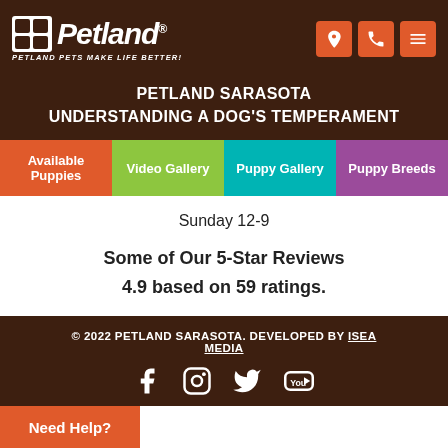Petland - Petland Pets Make Life Better!
PETLAND SARASOTA
UNDERSTANDING A DOG'S TEMPERAMENT
Available Puppies
Video Gallery
Puppy Gallery
Puppy Breeds
Sunday 12-9
Some of Our 5-Star Reviews
4.9 based on 59 ratings.
© 2022 PETLAND SARASOTA. DEVELOPED BY ISEA MEDIA
Need Help?